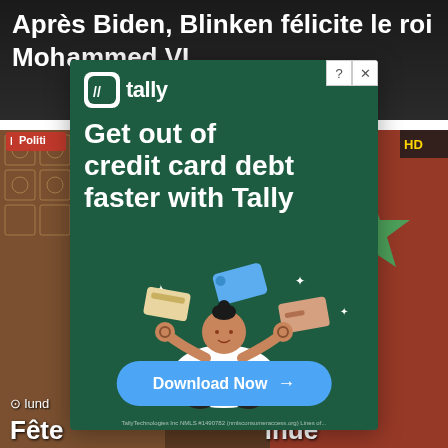Après Biden, Blinken félicite le roi Mohammed VI
[Figure (screenshot): News website screenshot showing articles in French about Moroccan politics, overlaid by a Tally credit card debt advertisement]
Politique
⊙ lundi
Fête... inue de f...
Maroc
[Figure (illustration): Tally app advertisement on dark green background. Logo with white square icon containing two slashes and 'tally' text. Headline: Get out of credit card debt faster with Tally. Illustration of meditating person juggling credit cards. Blue Download Now button with arrow. Fine print about TallyTechnologies Inc NMLS #1490782.]